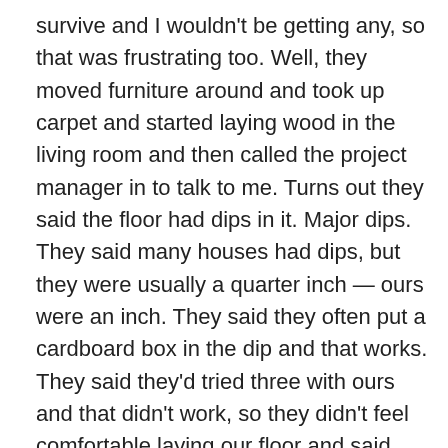survive and I wouldn't be getting any, so that was frustrating too. Well, they moved furniture around and took up carpet and started laying wood in the living room and then called the project manager in to talk to me. Turns out they said the floor had dips in it. Major dips. They said many houses had dips, but they were usually a quarter inch — ours were an inch. They said they often put a cardboard box in the dip and that works. They said they'd tried three with ours and that didn't work, so they didn't feel comfortable laying our floor and said we'd have to do something different. We'd have to get a leveler and get it laid overnight. Then the contractors would have to glue the wood to the floor. This, of course, would cost a whole lot more. I wasn't happy and when I contacted my wife, she was livid. She felt like it was a bait and switch and I felt similarly. So we had to wait until the saleswoman called